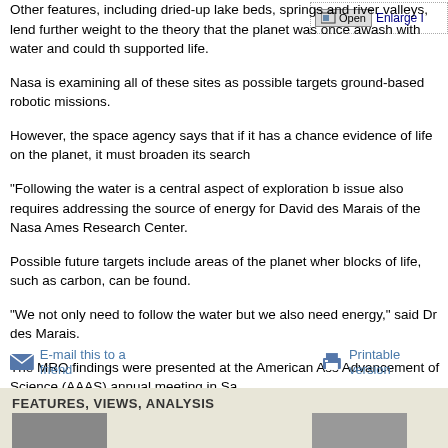Other features, including dried-up lake beds, springs and river valleys, lend further weight to the theory that the planet was once awash with water and could have supported life.
Nasa is examining all of these sites as possible targets for ground-based robotic missions.
However, the space agency says that if it has a chance of finding evidence of life on the planet, it must broaden its search.
"Following the water is a central aspect of exploration but the issue also requires addressing the source of energy for life," said David des Marais of the Nasa Ames Research Center.
Possible future targets include areas of the planet where the building blocks of life, such as carbon, can be found.
"We not only need to follow the water but we also need to follow the energy," said Dr des Marais.
The MRO findings were presented at the American Association for the Advancement of Science (AAAS) annual meeting in San Francisco.
E-mail this to a friend
Printable version
FEATURES, VIEWS, ANALYSIS